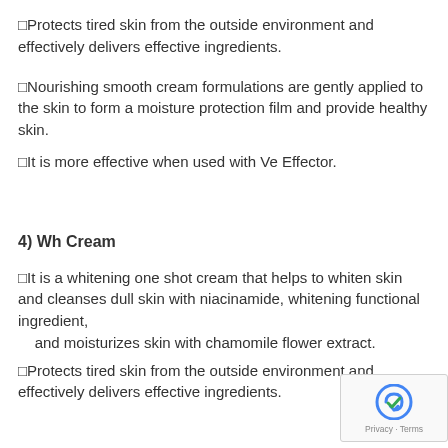□Protects tired skin from the outside environment and effectively delivers effective ingredients.
□Nourishing smooth cream formulations are gently applied to the skin to form a moisture protection film and provide healthy skin.
□It is more effective when used with Ve Effector.
4) Wh Cream
□It is a whitening one shot cream that helps to whiten skin and cleanses dull skin with niacinamide, whitening functional ingredient,  and moisturizes skin with chamomile flower extract.
□Protects tired skin from the outside environment and effectively delivers effective ingredients.